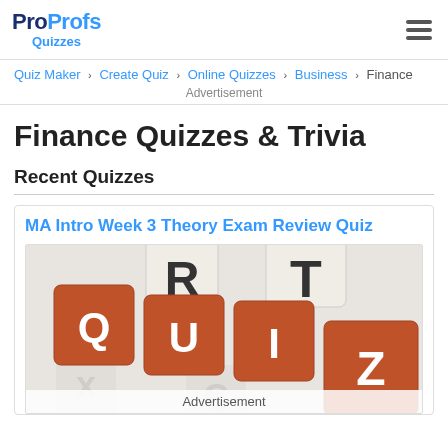ProProfs Quizzes
Quiz Maker › Create Quiz › Online Quizzes › Business › Finance
Advertisement
Finance Quizzes & Trivia
Recent Quizzes
MA Intro Week 3 Theory Exam Review Quiz
[Figure (photo): Keyboard keys spelling out QUIZ with orange highlighted Q, U, I, Z keys and beige/cream colored letter keys including R, T visible in background]
Advertisement